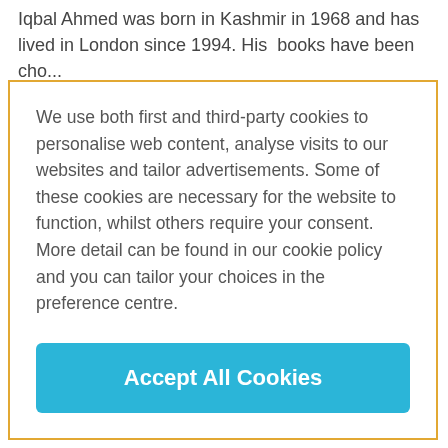Iqbal Ahmed was born in Kashmir in 1968 and has lived in London since 1994. His  books have been cho...
We use both first and third-party cookies to personalise web content, analyse visits to our websites and tailor advertisements. Some of these cookies are necessary for the website to function, whilst others require your consent. More detail can be found in our cookie policy and you can tailor your choices in the preference centre.
Accept All Cookies